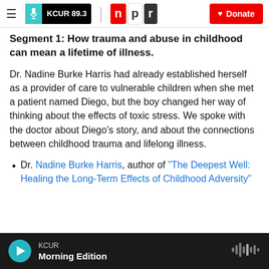KCUR 89.3 | npr | Donate
Segment 1: How trauma and abuse in childhood can mean a lifetime of illness.
Dr. Nadine Burke Harris had already established herself as a provider of care to vulnerable children when she met a patient named Diego, but the boy changed her way of thinking about the effects of toxic stress. We spoke with the doctor about Diego's story, and about the connections between childhood trauma and lifelong illness.
Dr. Nadine Burke Harris, author of "The Deepest Well: Healing the Long-Term Effects of Childhood Adversity"
KCUR Morning Edition